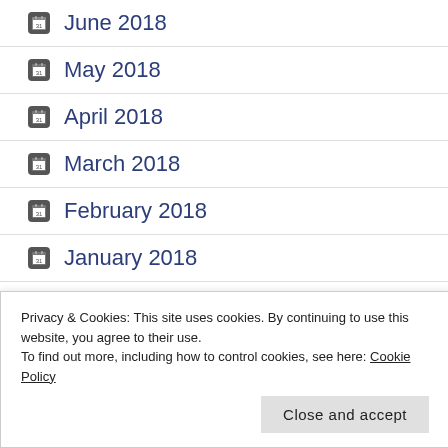June 2018
May 2018
April 2018
March 2018
February 2018
January 2018
December 2017
Privacy & Cookies: This site uses cookies. By continuing to use this website, you agree to their use.
To find out more, including how to control cookies, see here: Cookie Policy
Close and accept